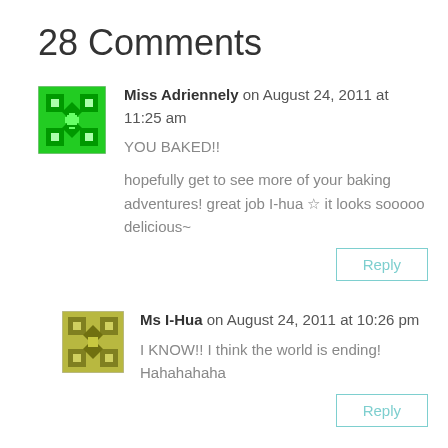28 Comments
Miss Adriennely on August 24, 2011 at 11:25 am
YOU BAKED!!
hopefully get to see more of your baking adventures! great job I-hua » it looks sooooo delicious~
Reply
Ms I-Hua on August 24, 2011 at 10:26 pm
I KNOW!! I think the world is ending! Hahahahaha
Reply